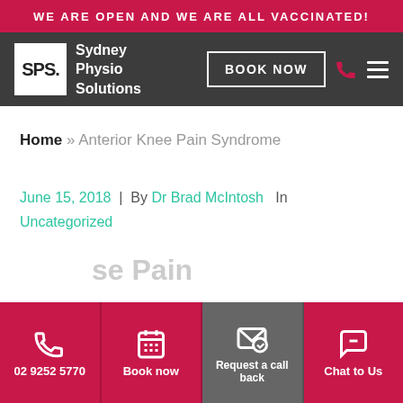WE ARE OPEN AND WE ARE ALL VACCINATED!
[Figure (logo): Sydney Physio Solutions logo with SPS. text and navigation bar including BOOK NOW button]
Home » Anterior Knee Pain Syndrome
June 15, 2018  |  By Dr Brad McIntosh  In Uncategorized
...se Pain (partial title visible)
02 9252 5770 | Book now | Request a call back | Chat to Us